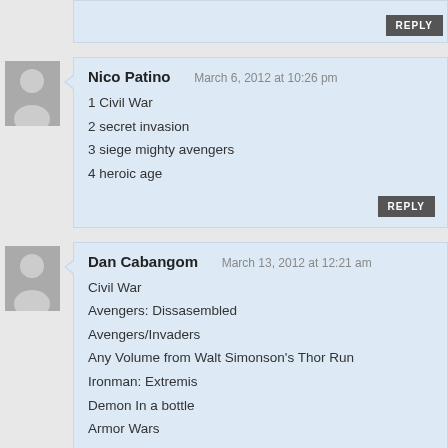REPLY
Nico Patino   March 6, 2012 at 10:26 pm
1 Civil War
2 secret invasion
3 siege mighty avengers
4 heroic age
REPLY
Dan Cabangom   March 13, 2012 at 12:21 am
Civil War
Avengers: Dissasembled
Avengers/Invaders
Any Volume from Walt Simonson's Thor Run
Ironman: Extremis
Demon In a bottle
Armor Wars
Planet Hulk